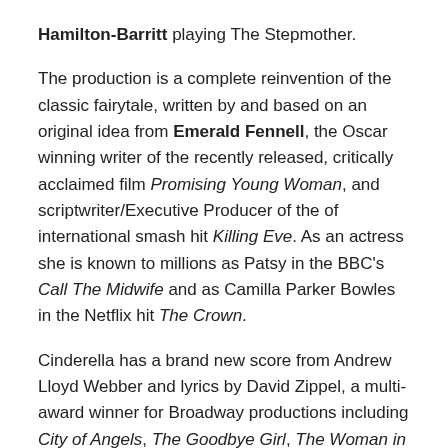Hamilton-Barritt playing The Stepmother.
The production is a complete reinvention of the classic fairytale, written by and based on an original idea from Emerald Fennell, the Oscar winning writer of the recently released, critically acclaimed film Promising Young Woman, and scriptwriter/Executive Producer of the of international smash hit Killing Eve. As an actress she is known to millions as Patsy in the BBC's Call The Midwife and as Camilla Parker Bowles in the Netflix hit The Crown.
Cinderella has a brand new score from Andrew Lloyd Webber and lyrics by David Zippel, a multi-award winner for Broadway productions including City of Angels, The Goodbye Girl, The Woman in White and Liza at the Palace, as well as for work on film including Disney's Hercules and Mulan, both of which received Oscar